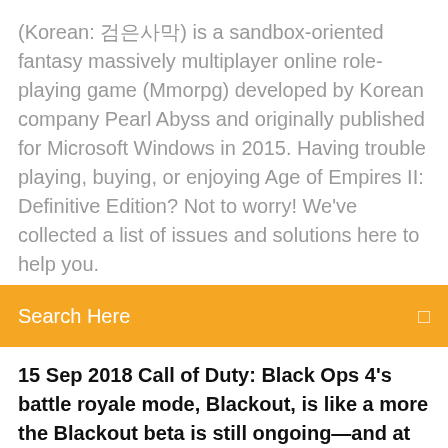(Korean: 검은사막) is a sandbox-oriented fantasy massively multiplayer online role-playing game (Mmorpg) developed by Korean company Pearl Abyss and originally published for Microsoft Windows in 2015. Having trouble playing, buying, or enjoying Age of Empires II: Definitive Edition? Not to worry! We've collected a list of issues and solutions here to help you.
Search Here
15 Sep 2018 Call of Duty: Black Ops 4's battle royale mode, Blackout, is like a more the Blackout beta is still ongoing—and at least on PC, it's free and open to everyone. It's a fairly hefty 17 GB download, so that's a potential obstacle, but
Youtube https://goo.gl/Oajj7n Steam https://goo.gl/a5wQRn SocialClub https://goo.gl/IjRvEI Origin ProvincialSea Xbox ProvincialSea Uplay PrTreyarch | PC Invasionhttps://pcinvasion.com/tag/treyarchTreyarch news and features. Get all the latest Treyarch information.Support |